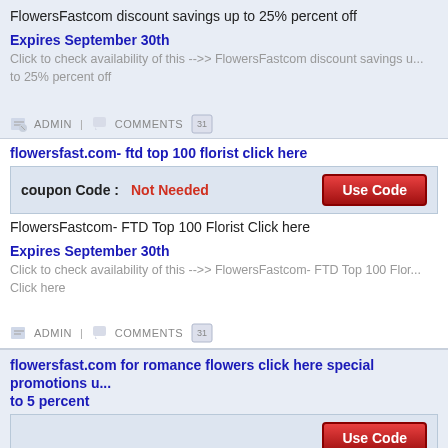FlowersFastcom discount savings up to 25% percent off
Expires September 30th
Click to check availability of this -->> FlowersFastcom discount savings up to 25% percent off
ADMIN | COMMENTS
flowersfast.com- ftd top 100 florist click here
coupon Code : Not Needed
FlowersFastcom- FTD Top 100 Florist Click here
Expires September 30th
Click to check availability of this -->> FlowersFastcom- FTD Top 100 Florist Click here
ADMIN | COMMENTS
flowersfast.com for romance flowers click here special promotions up to 5 percent